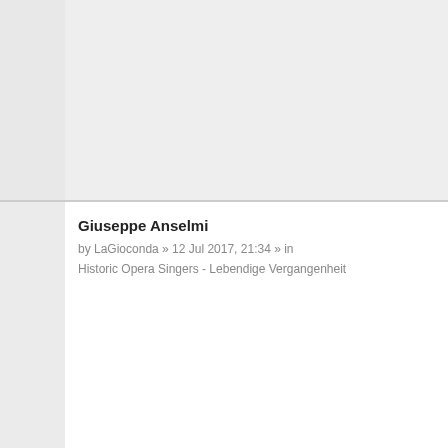Giuseppe Anselmi
by LaGioconda » 12 Jul 2017, 21:34 » in
Historic Opera Singers - Lebendige Vergangenheit